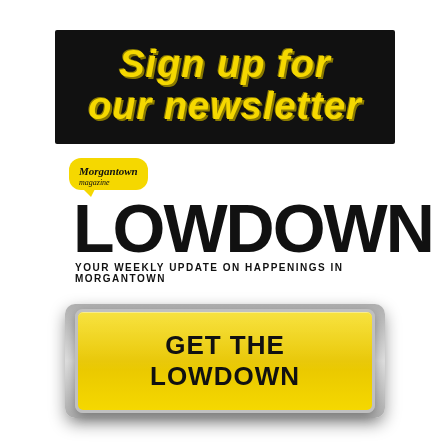Sign up for our newsletter
[Figure (logo): Morgantown magazine Lowdown logo with yellow speech bubble and bold black LOWDOWN text]
YOUR WEEKLY UPDATE ON HAPPENINGS IN MORGANTOWN
GET THE LOWDOWN